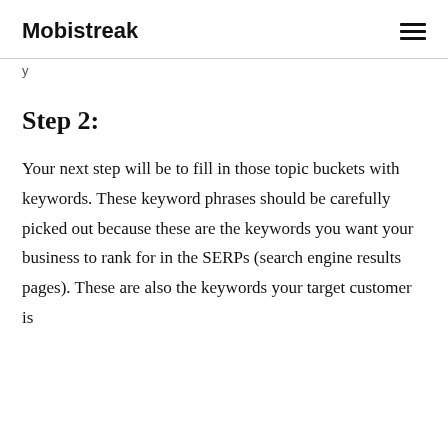Mobistreak
y
Step 2:
Your next step will be to fill in those topic buckets with keywords. These keyword phrases should be carefully picked out because these are the keywords you want your business to rank for in the SERPs (search engine results pages). These are also the keywords your target customer is